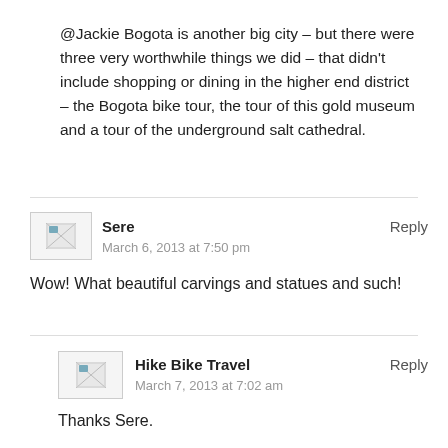@Jackie Bogota is another big city – but there were three very worthwhile things we did – that didn't include shopping or dining in the higher end district – the Bogota bike tour, the tour of this gold museum and a tour of the underground salt cathedral.
Sere
March 6, 2013 at 7:50 pm
Reply
Wow! What beautiful carvings and statues and such!
Hike Bike Travel
March 7, 2013 at 7:02 am
Reply
Thanks Sere.